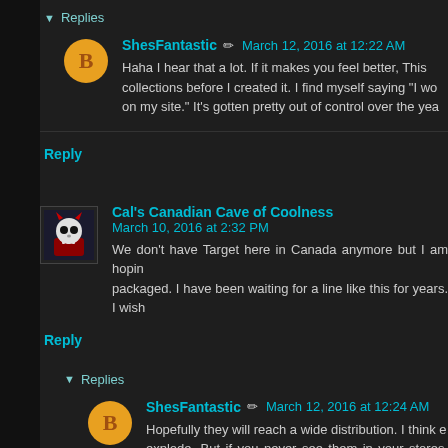▼ Replies
ShesFantastic ✏ March 12, 2016 at 12:22 AM
Haha I hear that a lot. If it makes you feel better, This collections before I created it. I find myself saying "I wo on my site." It's gotten pretty out of control over the yea
Reply
Cal's Canadian Cave of Coolness  March 10, 2016 at 2:32 PM
We don't have Target here in Canada anymore but I am hopin packaged. I have been waiting for a line like this for years. I wish
Reply
▼ Replies
ShesFantastic ✏ March 12, 2016 at 12:24 AM
Hopefully they will reach a wide distribution. I think e explode. But if you never see them in your stores, shoo